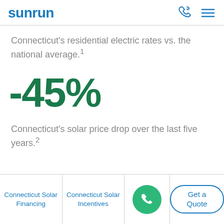sunrun
Connecticut's residential electric rates vs. the national average.¹
-45%
Connecticut's solar price drop over the last five years.²
Connecticut Solar Financing
Connecticut Solar Incentives
Get a Quote